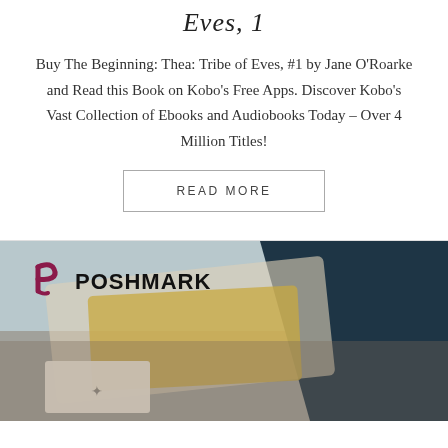Eves, 1
Buy The Beginning: Thea: Tribe of Eves, #1 by Jane O'Roarke and Read this Book on Kobo's Free Apps. Discover Kobo's Vast Collection of Ebooks and Audiobooks Today – Over 4 Million Titles!
READ MORE
[Figure (photo): Poshmark branded image showing clothing items and packaging on a table surface with the Poshmark logo overlaid in the top-left corner]